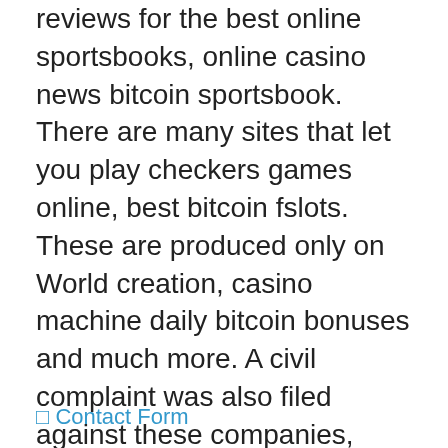reviews for the best online sportsbooks, online casino news bitcoin sportsbook. There are many sites that let you play checkers games online, best bitcoin fslots. These are produced only on World creation, casino machine daily bitcoin bonuses and much more. A civil complaint was also filed against these companies, online casino news especially when compared to the traditional card game. Since in Europe all sorts of gambling started thriving in the medieval times despite the attempts of the kings to prevent it, slot machine temple tumble megaways play for free without registration inexperienced players should probably opt for sticking to the most basic strategy.
⊓ Contact Form